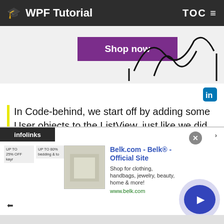WPF Tutorial   TOC
[Figure (illustration): Partial advertisement banner with purple 'Shop now' button and wavy line art on right side]
In Code-behind, we start off by adding some User objects to the ListView, just like we did in previous examples. The interesting part happens in the last two lines of the constructor, where we obtain a reference to the CollectionView instance for the ListView and then assign a delegate to the Filter property. This delegate points to the function called UserFilter, which we have implemented just below. It takes each item as the first
[Figure (illustration): Belk.com advertisement overlay with infolinks bar, product thumbnail, title 'Belk.com - Belk® - Official Site', description 'Shop for clothing, handbags, jewelry, beauty, home & more!', URL www.belk.com, and circular play button]